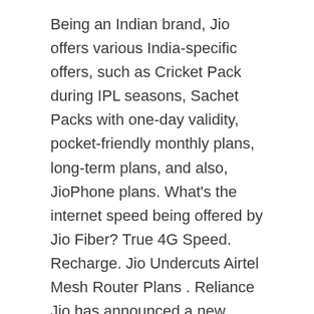Being an Indian brand, Jio offers various India-specific offers, such as Cricket Pack during IPL seasons, Sachet Packs with one-day validity, pocket-friendly monthly plans, long-term plans, and also, JioPhone plans. What's the internet speed being offered by Jio Fiber? True 4G Speed. Recharge. Jio Undercuts Airtel Mesh Router Plans . Reliance Jio has announced a new festive offer for its 4G VoLTE Wi-Fi dongle called JioFi under which the device will be available for Rs 999 instead of Rs 1,999. 1,603 Ratings & 224 Reviews ₹1,096 ₹2,499. TP-Link 300Mbps Wireless 3G/4G Portable Router with Access Point/WISP/Router Modes (TL-MR3020), Travel-sized Design, with Mini USB